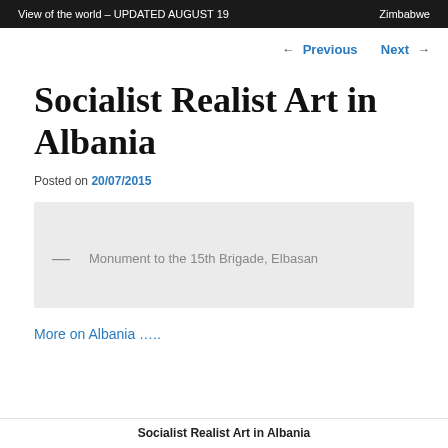View of the world – UPDATED AUGUST 19    Zimbabwe
← Previous   Next →
Socialist Realist Art in Albania
Posted on 20/07/2015
— Monument to the 15th Brigade, Elbasan
More on Albania …..
Socialist Realist Art in Albania